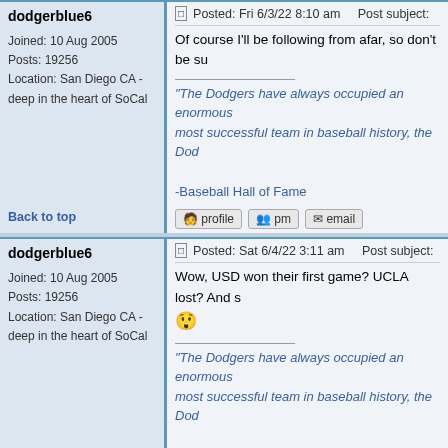dodgerblue6
Joined: 10 Aug 2005
Posts: 19256
Location: San Diego CA - deep in the heart of SoCal
Posted: Fri 6/3/22 8:10 am    Post subject:
Of course I'll be following from afar, so don't be su
"The Dodgers have always occupied an enormous
most successful team in baseball history, the Dod

-Baseball Hall of Fame
Back to top
dodgerblue6
Joined: 10 Aug 2005
Posts: 19256
Location: San Diego CA - deep in the heart of SoCal
Posted: Sat 6/4/22 3:11 am    Post subject:
Wow, USD won their first game? UCLA lost? And s
"The Dodgers have always occupied an enormous
most successful team in baseball history, the Dod

-Baseball Hall of Fame
Back to top
dodgerblue6
Joined: 10 Aug 2005
Posts: 19256
Posted: Sat 6/4/22 3:19 pm    Post subject:
USD won? UCLA lost?